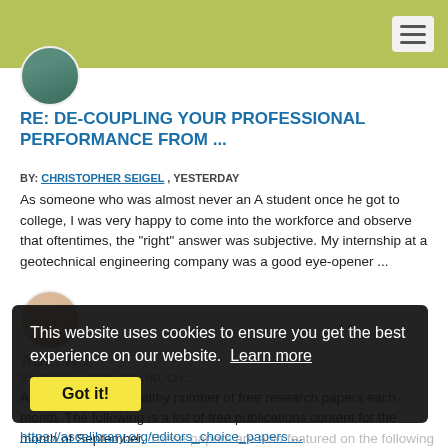[Figure (photo): Green/teal navigation header bar with hamburger menu icon in top right]
[Figure (photo): Circular avatar photo of a person in a teal/green background]
RE: DE-COUPLING YOUR PROFESSIONAL PERFORMANCE FROM ...
BY: CHRISTOPHER SEIGEL , YESTERDAY
As someone who was almost never an A student once he got to college, I was very happy to come into the workforce and observe that oftentimes, the "right" answer was subjective. My internship at a geotechnical engineering company was a good eye-opener ...
[Figure (photo): Circular avatar photo of a woman with blonde hair]
ASCE ... RS
BY: ... AUSTIN, BRAND, Ch...
ASCE provides a healthy number of free research papers each month. The following is a list of free publications content for the month of September. These papers are also featured on the following page while they are open.
https://ascelibrary.org/editors_choice_papers ...
This website uses cookies to ensure you get the best experience on our website. Learn more
Got it!